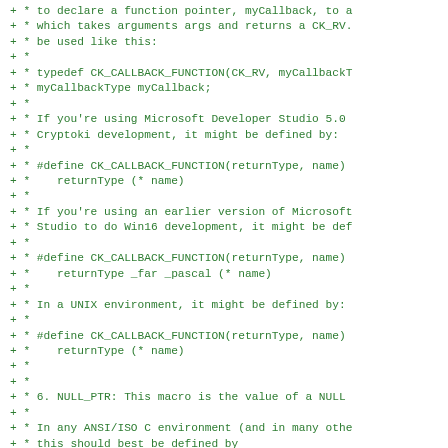+ * to declare a function pointer, myCallback, to a
+ * which takes arguments args and returns a CK_RV.
+ * be used like this:
+ *
+ * typedef CK_CALLBACK_FUNCTION(CK_RV, myCallbackT
+ * myCallbackType myCallback;
+ *
+ * If you're using Microsoft Developer Studio 5.0
+ * Cryptoki development, it might be defined by:
+ *
+ * #define CK_CALLBACK_FUNCTION(returnType, name)
+ *    returnType (* name)
+ *
+ * If you're using an earlier version of Microsoft
+ * Studio to do Win16 development, it might be def
+ *
+ * #define CK_CALLBACK_FUNCTION(returnType, name)
+ *    returnType _far _pascal (* name)
+ *
+ * In a UNIX environment, it might be defined by:
+ *
+ * #define CK_CALLBACK_FUNCTION(returnType, name)
+ *    returnType (* name)
+ *
+ *
+ * 6. NULL_PTR: This macro is the value of a NULL
+ *
+ * In any ANSI/ISO C environment (and in many othe
+ * this should best be defined by
+ * *